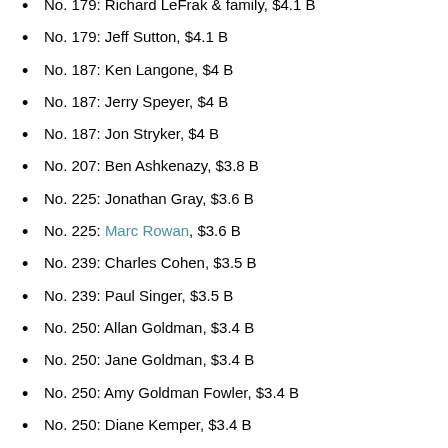No. 179: Richard LeFrak & family, $4.1 B
No. 179: Jeff Sutton, $4.1 B
No. 187: Ken Langone, $4 B
No. 187: Jerry Speyer, $4 B
No. 187: Jon Stryker, $4 B
No. 207: Ben Ashkenazy, $3.8 B
No. 225: Jonathan Gray, $3.6 B
No. 225: Marc Rowan, $3.6 B
No. 239: Charles Cohen, $3.5 B
No. 239: Paul Singer, $3.5 B
No. 250: Allan Goldman, $3.4 B
No. 250: Jane Goldman, $3.4 B
No. 250: Amy Goldman Fowler, $3.4 B
No. 250: Diane Kemper, $3.4 B
No. 268: Daniel Och, $3.2 B
No. 268: Don Vultaggio & family, $3.2 B
No. 275: Noam Gottesman, $3.1 B